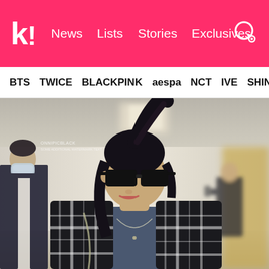k! News Lists Stories Exclusives
BTS TWICE BLACKPINK aespa NCT IVE SHINE
[Figure (photo): A young woman wearing black sunglasses, dark plaid jacket over a grey turtleneck, with a chain necklace and dark hair in a ponytail, walking at what appears to be an airport. A masked man in dark jacket is visible on the left, and a person in dark suit is in the background right.]